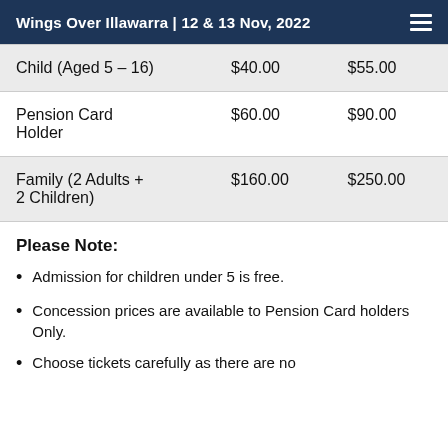Wings Over Illawarra | 12 & 13 Nov, 2022
| Child (Aged 5 – 16) | $40.00 | $55.00 |
| Pension Card Holder | $60.00 | $90.00 |
| Family (2 Adults + 2 Children) | $160.00 | $250.00 |
Please Note:
Admission for children under 5 is free.
Concession prices are available to Pension Card holders Only.
Choose tickets carefully as there are no...